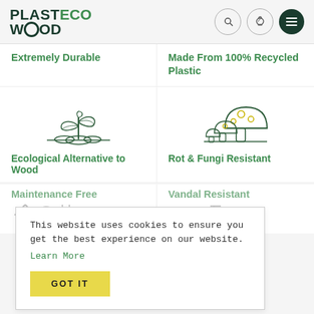[Figure (logo): PlasticoWood logo with stylized O in WOOD]
[Figure (illustration): Navigation icons: phone, search, and hamburger menu in circles]
Extremely Durable
Made From 100% Recycled Plastic
[Figure (illustration): Line art icon of a plant sprout with leaves]
[Figure (illustration): Line art icon of mushrooms with yellow circle accents]
Ecological Alternative to Wood
Rot & Fungi Resistant
This website uses cookies to ensure you get the best experience on our website.
Learn More
GOT IT
Maintenance Free
Vandal Resistant
[Figure (illustration): Partially visible maintenance-related icon]
[Figure (illustration): Partially visible vandal-resistant icon]